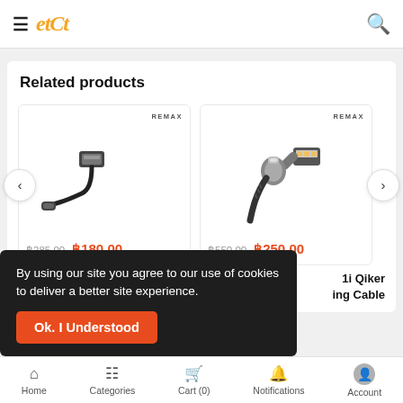etct — navigation bar with hamburger menu and search icon
Related products
[Figure (photo): Remax USB cable product image — black USB-A to USB-C cable on white background with REMAX brand label]
REMAX
฿285.00  ฿180.00
[Figure (photo): Remax angled USB charging cable with metallic gray connectors on white background with REMAX brand label]
REMAX
฿550.00  ฿250.00
1i Qiker
ing Cable
By using our site you agree to our use of cookies to deliver a better site experience.
Ok. I Understood
Home  Categories  Cart (0)  Notifications  Account